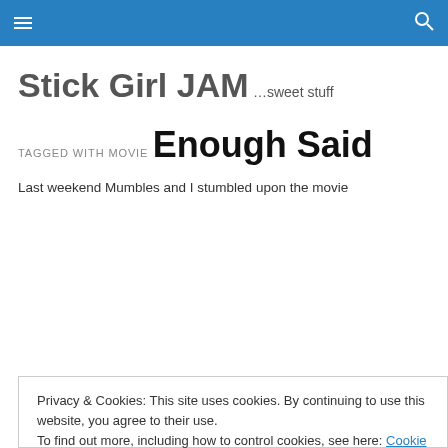Stick Girl JAM [navigation bar with hamburger menu and search icon]
Stick Girl JAM
…sweet stuff
TAGGED WITH MOVIE
Enough Said
Last weekend Mumbles and I stumbled upon the movie
Privacy & Cookies: This site uses cookies. By continuing to use this website, you agree to their use.
To find out more, including how to control cookies, see here: Cookie Policy
super … Continue reading →